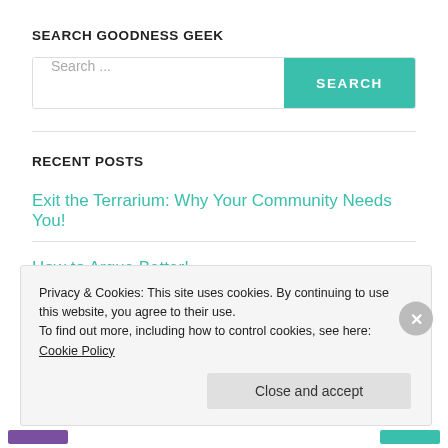SEARCH GOODNESS GEEK
[Figure (screenshot): Search bar with text 'Search ...' and a teal SEARCH button]
RECENT POSTS
Exit the Terrarium: Why Your Community Needs You!
How to Argue Better!
Privacy & Cookies: This site uses cookies. By continuing to use this website, you agree to their use. To find out more, including how to control cookies, see here: Cookie Policy
Close and accept